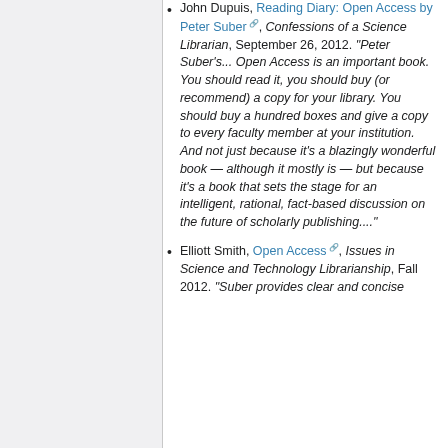John Dupuis, Reading Diary: Open Access by Peter Suber, Confessions of a Science Librarian, September 26, 2012. "Peter Suber's... Open Access is an important book. You should read it, you should buy (or recommend) a copy for your library. You should buy a hundred boxes and give a copy to every faculty member at your institution. And not just because it's a blazingly wonderful book — although it mostly is — but because it's a book that sets the stage for an intelligent, rational, fact-based discussion on the future of scholarly publishing...."
Elliott Smith, Open Access, Issues in Science and Technology Librarianship, Fall 2012. "Suber provides clear and concise